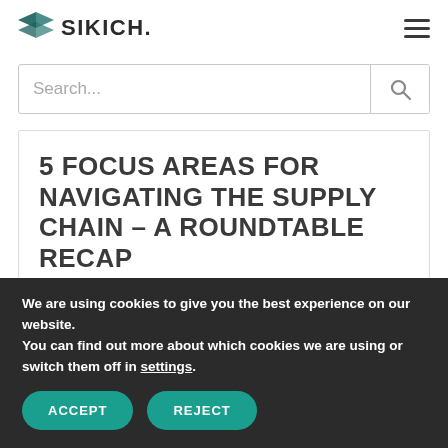SIKICH.
[Figure (screenshot): Search input box with magnifying glass icon button on the right]
5 FOCUS AREAS FOR NAVIGATING THE SUPPLY CHAIN – A ROUNDTABLE RECAP
We are using cookies to give you the best experience on our website.
You can find out more about which cookies we are using or switch them off in settings.
ACCEPT   REJECT